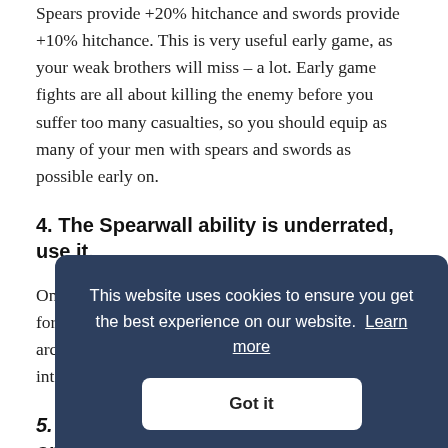Spears provide +20% hitchance and swords provide +10% hitchance. This is very useful early game, as your weak brothers will miss – a lot. Early game fights are all about killing the enemy before you suffer too many casualties, so you should equip as many of your men with spears and swords as possible early on.
4. The Spearwall ability is underrated, use it.
Once you equip your frontline with spears, don't forget to use the Spearwall ability. If you have the archer advantage, the enemy will be forced to get into range wi... oft... shi... de...
5. Equip shields on all your bros early on.
This website uses cookies to ensure you get the best experience on our website. Learn more
Got it